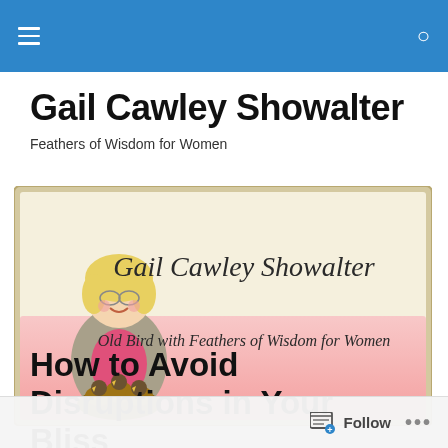Navigation bar with menu and search icons
Gail Cawley Showalter
Feathers of Wisdom for Women
[Figure (illustration): Blog banner image showing a cartoon illustration of an older blonde woman holding birds in a nest, with cursive text 'Gail Cawley Showalter' and subtitle 'Old Bird with Feathers of Wisdom for Women' on a pink background with beige/cream border frame.]
How to Avoid Disruptions in Your Bliss
Follow ...